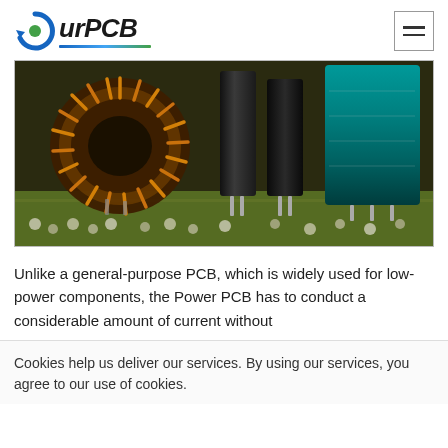[Figure (logo): OurPCB logo with circular arrow icon and blue/green underline bar]
[Figure (photo): Close-up photo of electronic components on a PCB: a toroidal inductor (copper coil ring), black cylindrical capacitors, and a teal/green large capacitor, mounted on a green PCB board]
Unlike a general-purpose PCB, which is widely used for low-power components, the Power PCB has to conduct a considerable amount of current without
Cookies help us deliver our services. By using our services, you agree to our use of cookies.